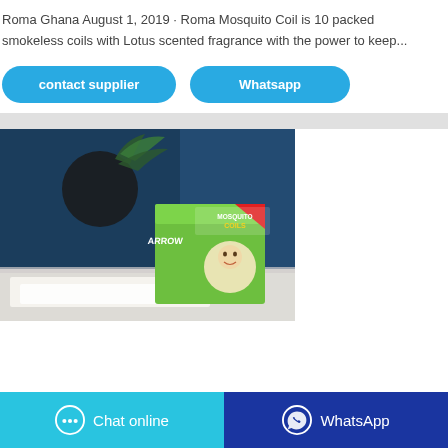Roma Ghana August 1, 2019 · Roma Mosquito Coil is 10 packed smokeless coils with Lotus scented fragrance with the power to keep...
contact supplier
Whatsapp
[Figure (photo): Product photo of Arrow Mosquito Coils box on a white surface with dark blue background and a plant]
Chat online
WhatsApp